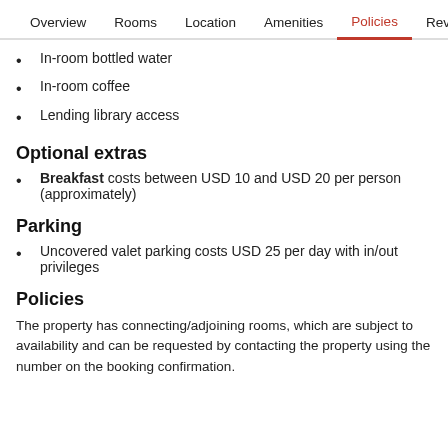Overview  Rooms  Location  Amenities  Policies  Reviews
In-room bottled water
In-room coffee
Lending library access
Optional extras
Breakfast costs between USD 10 and USD 20 per person (approximately)
Parking
Uncovered valet parking costs USD 25 per day with in/out privileges
Policies
The property has connecting/adjoining rooms, which are subject to availability and can be requested by contacting the property using the number on the booking confirmation.